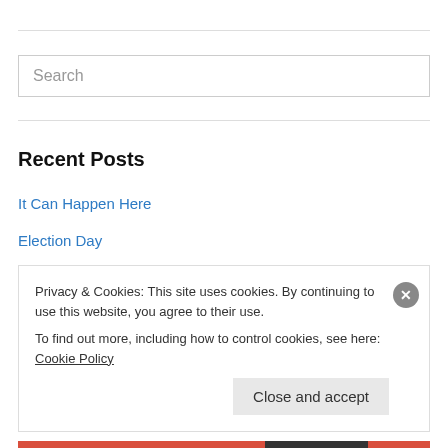Search
Recent Posts
It Can Happen Here
Election Day
A $1.75 Trillion Mistake
“Prior to capitalism,….
People I grew up with
Privacy & Cookies: This site uses cookies. By continuing to use this website, you agree to their use.
To find out more, including how to control cookies, see here: Cookie Policy
Close and accept